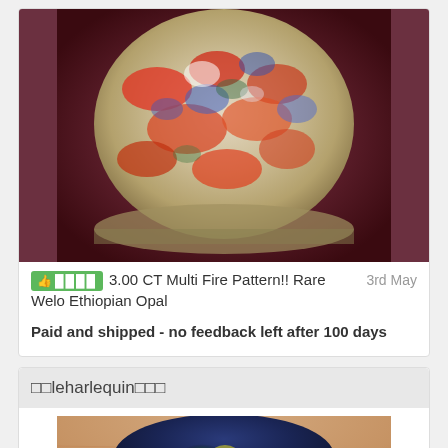[Figure (photo): Close-up photo of a colorful fire opal gemstone showing multi-colored fire pattern with red, blue, and green colors against a dark background]
👍 ████  3.00 CT Multi Fire Pattern!! Rare Welo Ethiopian Opal    3rd May
Paid and shipped - no feedback left after 100 days
□□leharlequin□□□
[Figure (photo): Close-up photo of a dark blue/black opal gemstone being held between fingers, showing green fire/play of color]